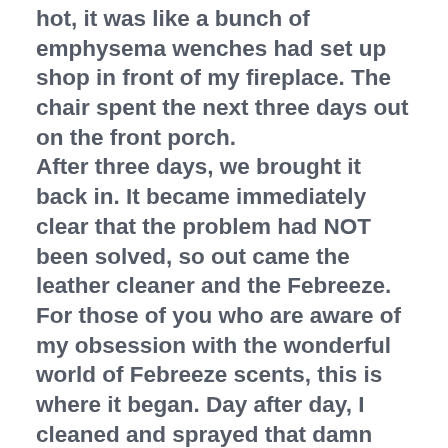hot, it was like a bunch of emphysema wenches had set up shop in front of my fireplace. The chair spent the next three days out on the front porch. After three days, we brought it back in. It became immediately clear that the problem had NOT been solved, so out came the leather cleaner and the Febreeze. For those of you who are aware of my obsession with the wonderful world of Febreeze scents, this is where it began. Day after day, I cleaned and sprayed that damn chair with a variety of floral and geographic scent-sations. One night, Ken was so simultaneously sad about the smell, but happy about the comfort level of the chair that he spread a blanket over the entire thing to mask the odour and fell blissfully asleep in it. At this